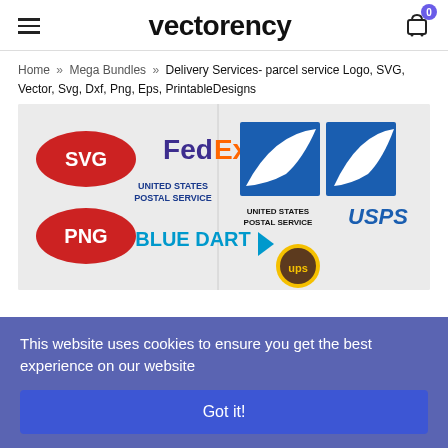vectorency — navigation header with hamburger menu and cart icon (badge: 0)
Home » Mega Bundles » Delivery Services- parcel service Logo, SVG, Vector, Svg, Dxf, Png, Eps, PrintableDesigns
[Figure (illustration): Product image showing delivery service logos: FedEx, USPS (United States Postal Service), Blue Dart, UPS, with SVG and PNG badges on red ellipses.]
This website uses cookies to ensure you get the best experience on our website
Got it!